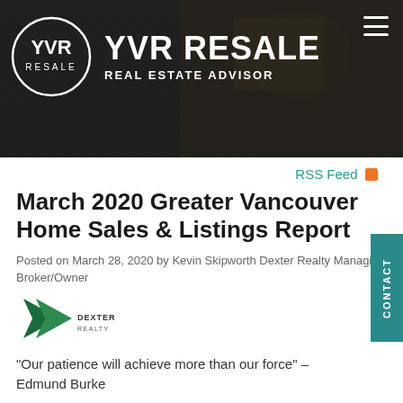[Figure (photo): YVR Resale Real Estate Advisor website header banner with logo (circle with YR monogram), site title 'YVR RESALE', subtitle 'REAL ESTATE ADVISOR', and hamburger menu icon over a dark interior room photo]
RSS Feed
March 2020 Greater Vancouver Home Sales & Listings Report
Posted on March 28, 2020 by Kevin Skipworth Dexter Realty Managing Broker/Owner
[Figure (logo): Dexter Realty logo — dark green arrow/chevron shape with 'DEXTER REALTY' text]
"Our patience will achieve more than our force" – Edmund Burke